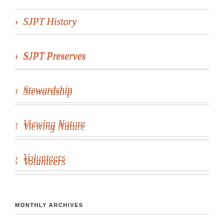> SJPT History
> SJPT Preserves
> Stewardship
> Viewing Nature
> Volunteers
> Ways of Giving
> Western Bluebird
MONTHLY ARCHIVES